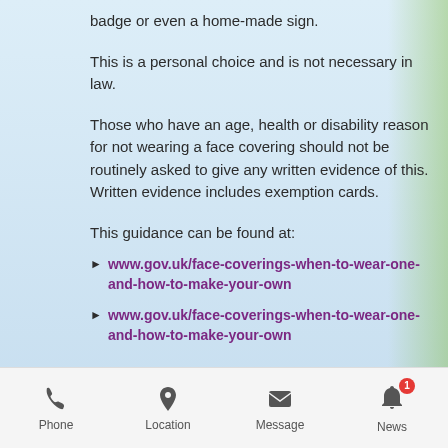badge or even a home-made sign.
This is a personal choice and is not necessary in law.
Those who have an age, health or disability reason for not wearing a face covering should not be routinely asked to give any written evidence of this. Written evidence includes exemption cards.
This guidance can be found at:
www.gov.uk/face-coverings-when-to-wear-one-and-how-to-make-your-own
www.gov.uk/face-coverings-when-to-wear-one-and-how-to-make-your-own
Advice for patients with pre-existing conditions
Phone  Location  Message  News